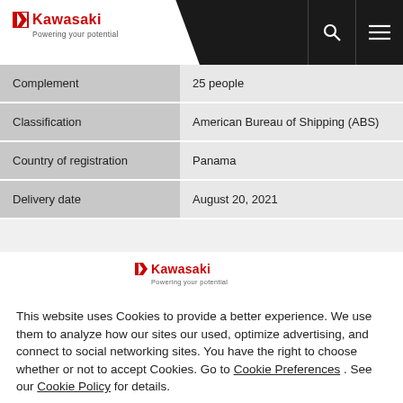Kawasaki — Powering your potential
| Field | Value |
| --- | --- |
| Complement | 25 people |
| Classification | American Bureau of Shipping (ABS) |
| Country of registration | Panama |
| Delivery date | August 20, 2021 |
[Figure (logo): Kawasaki logo — Powering your potential (centered, in cookie banner)]
This website uses Cookies to provide a better experience. We use them to analyze how our sites our used, optimize advertising, and connect to social networking sites. You have the right to choose whether or not to accept Cookies. Go to Cookie Preferences . See our Cookie Policy for details.
Close
propulsive efficiency propellers, and the Kawasaki rudder